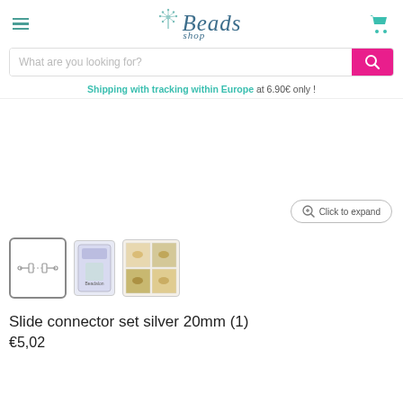[Figure (logo): I-Beads logo with dandelion illustration and shopping cart icon]
[Figure (screenshot): Search bar with placeholder 'What are you looking for?' and pink search button]
Shipping with tracking within Europe at 6.90€ only !
[Figure (photo): Main product image area (white/blank) with Click to expand button]
[Figure (photo): Three product thumbnails: slide connector silver piece, packaging card, usage demonstration]
Slide connector set silver 20mm (1)
€5,02